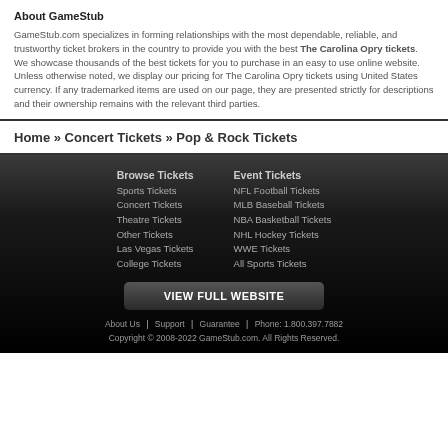About GameStub
GameStub.com specializes in forming relationships with the most dependable, reliable, and trustworthy ticket brokers in the country to provide you with the best The Carolina Opry tickets. We showcase thousands of the best tickets for you to purchase in an easy to use online website. Unless otherwise noted, we display our pricing for The Carolina Opry tickets using United States currency. If any trademarked items are used on our page, they are presented strictly for descriptions and their ownership remains with the relevant third parties.
Home » Concert Tickets » Pop & Rock Tickets
Browse Tickets
Sports Tickets
Concert Tickets
Theatre Tickets
Other Tickets
Las Vegas Tickets
College Tickets
Event Tickets
NFL Football Tickets
MLB Baseball Tickets
NBA Basketball Tickets
NHL Hockey Tickets
WWE Tickets
All Sports Tickets
VIEW FULL WEBSITE
About Us | Support | Guarantee | Phone: 1.800.397.7882 Copyright © 2008-2022 GameStub.com. All Rights Reserved.